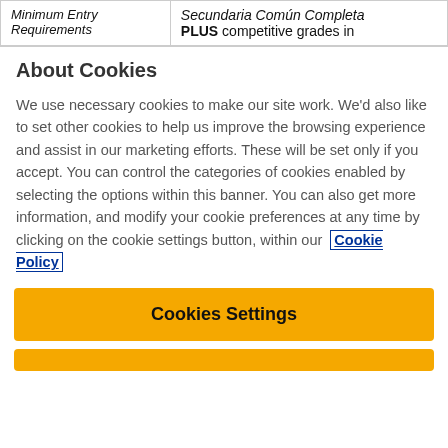| Minimum Entry
Requirements | Secundaria Común Completa PLUS competitive grades in |
About Cookies
We use necessary cookies to make our site work. We'd also like to set other cookies to help us improve the browsing experience and assist in our marketing efforts. These will be set only if you accept. You can control the categories of cookies enabled by selecting the options within this banner. You can also get more information, and modify your cookie preferences at any time by clicking on the cookie settings button, within our Cookie Policy
Cookies Settings